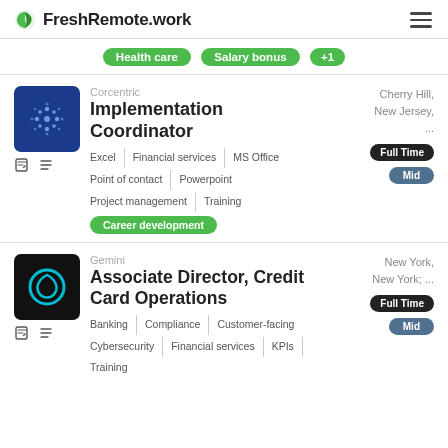FreshRemote.work
Health care  Salary bonus  +1
Corcentric  Cherry Hill, New Jersey, ...  Implementation Coordinator  Excel  Financial services  MS Office  Point of contact  Powerpoint  Project management  Training  Career development  Full Time  Mid
Gemini  New York, New York; ...  Associate Director, Credit Card Operations  Banking  Compliance  Customer-facing  Cybersecurity  Financial services  KPIs  Training  Full Time  Mid